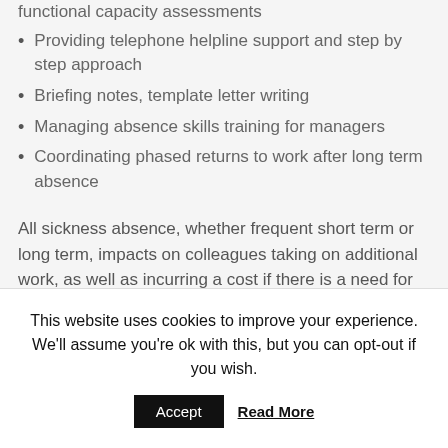functional capacity assessments
Providing telephone helpline support and step by step approach
Briefing notes, template letter writing
Managing absence skills training for managers
Coordinating phased returns to work after long term absence
All sickness absence, whether frequent short term or long term, impacts on colleagues taking on additional work, as well as incurring a cost if there is a need for temporary labour. If sickness absence
This website uses cookies to improve your experience. We'll assume you're ok with this, but you can opt-out if you wish.